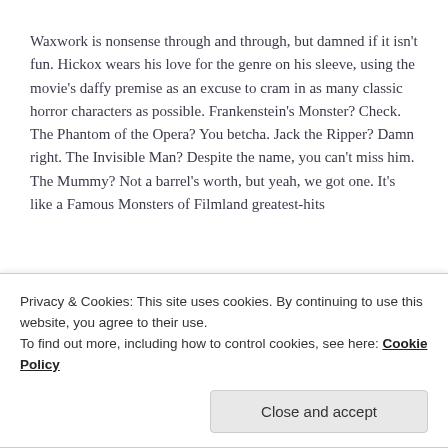Waxwork is nonsense through and through, but damned if it isn't fun. Hickox wears his love for the genre on his sleeve, using the movie's daffy premise as an excuse to cram in as many classic horror characters as possible. Frankenstein's Monster? Check. The Phantom of the Opera? You betcha. Jack the Ripper? Damn right. The Invisible Man? Despite the name, you can't miss him. The Mummy? Not a barrel's worth, but yeah, we got one. It's like a Famous Monsters of Filmland greatest-hits
Privacy & Cookies: This site uses cookies. By continuing to use this website, you agree to their use.
To find out more, including how to control cookies, see here: Cookie Policy
Close and accept